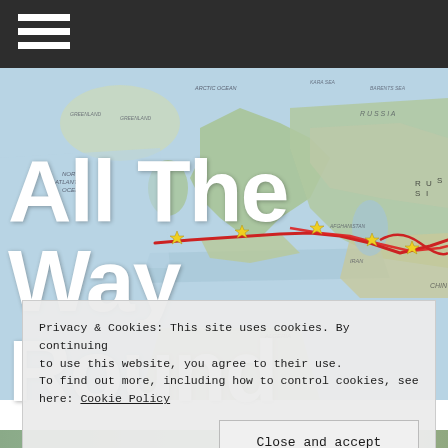[Figure (map): World map showing Europe, Russia, the Arctic Ocean, Atlantic Ocean, North Africa, and Asia, with a red route line drawn across Eurasia and yellow star markers at various points along the route.]
All The Way Round
Privacy & Cookies: This site uses cookies. By continuing to use this website, you agree to their use.
To find out more, including how to control cookies, see here: Cookie Policy
Close and accept